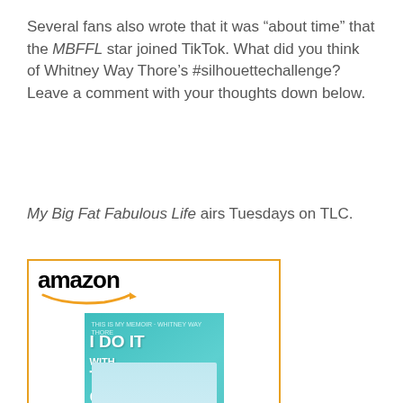Several fans also wrote that it was “about time” that the MBFFL star joined TikTok. What did you think of Whitney Way Thore’s #silhouettechallenge? Leave a comment with your thoughts down below.
My Big Fat Fabulous Life airs Tuesdays on TLC.
[Figure (other): Amazon advertisement widget showing book 'I Do It with the Lights On: And...' priced at $14.50 with Prime, with a Shop now button]